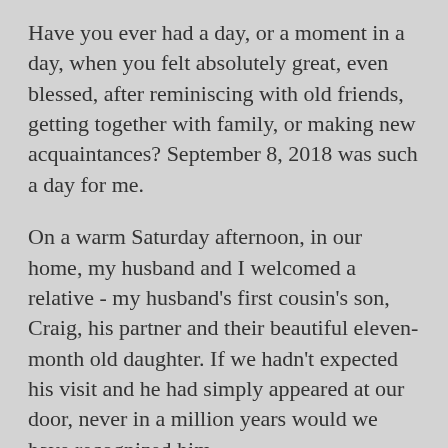Have you ever had a day, or a moment in a day, when you felt absolutely great, even blessed, after reminiscing with old friends, getting together with family, or making new acquaintances? September 8, 2018 was such a day for me.
On a warm Saturday afternoon, in our home, my husband and I welcomed a relative - my husband's first cousin's son, Craig, his partner and their beautiful eleven-month old daughter. If we hadn't expected his visit and he had simply appeared at our door, never in a million years would we have recognized him.
The last time we saw Craig, he was in his early thirties with long blond hair, a dark goatee, a warm smile and soft